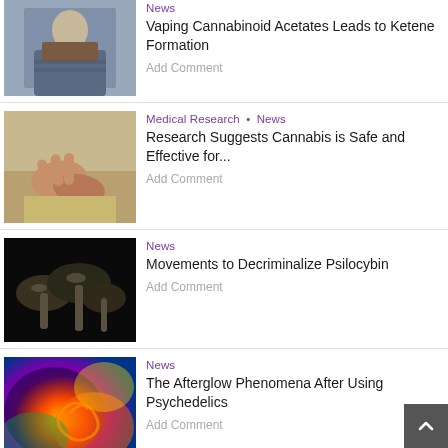[Figure (photo): Man in a sweater sitting outdoors, looking at his hands, possibly holding a vape]
News
Vaping Cannabinoid Acetates Leads to Ketene Formation
Add Comment
[Figure (photo): Close-up of elderly person's hands resting on lap, wearing khaki trousers]
Medical Research • News
Research Suggests Cannabis is Safe and Effective for...
Add Comment
[Figure (photo): Dark photograph of mushrooms on a black background]
News
Movements to Decriminalize Psilocybin
Add Comment
[Figure (photo): Colorful psychedelic abstract image with swirls of orange, red, blue, green]
News
The Afterglow Phenomena After Using Psychedelics
Add Comment
[Figure (photo): Hands handling cannabis, close-up blurred background]
Medical Research • News
Cannabis as a Substitute